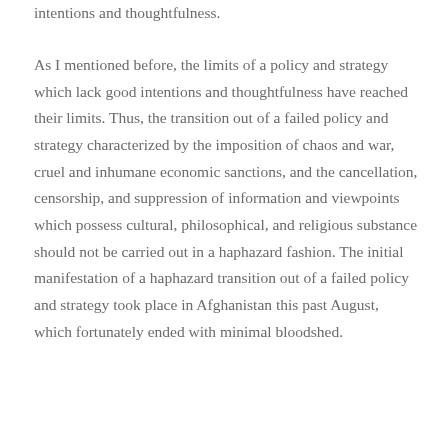intentions and thoughtfulness.
As I mentioned before, the limits of a policy and strategy which lack good intentions and thoughtfulness have reached their limits. Thus, the transition out of a failed policy and strategy characterized by the imposition of chaos and war, cruel and inhumane economic sanctions, and the cancellation, censorship, and suppression of information and viewpoints which possess cultural, philosophical, and religious substance should not be carried out in a haphazard fashion. The initial manifestation of a haphazard transition out of a failed policy and strategy took place in Afghanistan this past August, which fortunately ended with minimal bloodshed.